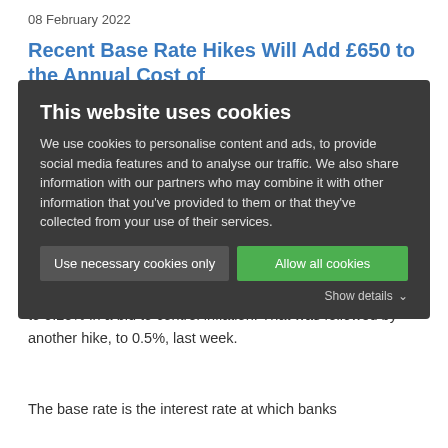08 February 2022
Recent Base Rate Hikes Will Add £650 to the Annual Cost of Mortgages
This website uses cookies

We use cookies to personalise content and ads, to provide social media features and to analyse our traffic. We also share information with our partners who may combine it with other information that you've provided to them or that they've collected from your use of their services.

[Use necessary cookies only] [Allow all cookies]

Show details
In December, the central bank lifted the base rate from 0.1% to 0.25% in a bid to control inflation. That was followed by another hike, to 0.5%, last week.
The base rate is the interest rate at which banks